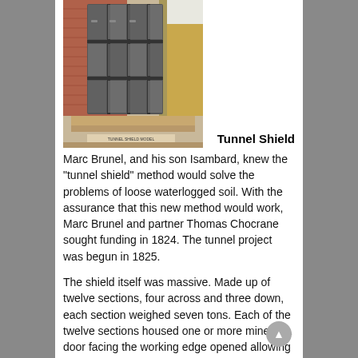[Figure (photo): A physical model of a tunnel shield displayed on a platform, showing a cutaway view of the rectangular iron frame structure with internal sections, set against a brick and soil background.]
Tunnel Shield
Marc Brunel, and his son Isambard, knew the "tunnel shield" method would solve the problems of loose waterlogged soil. With the assurance that this new method would work, Marc Brunel and partner Thomas Chocrane sought funding in 1824. The tunnel project was begun in 1825.
The shield itself was massive. Made up of twelve sections, four across and three down, each section weighed seven tons. Each of the twelve sections housed one or more miners. A door facing the working edge opened allowing the miner to dig out loose dirt. When digging